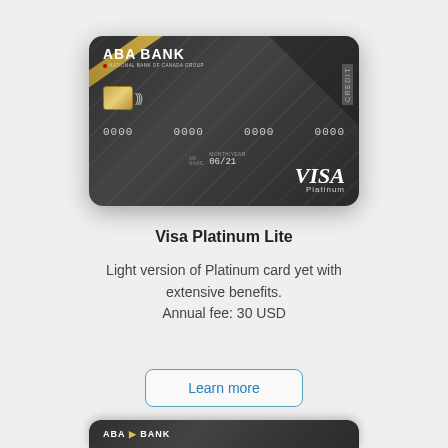[Figure (photo): ABA Bank Visa Platinum Lite credit card — dark metallic card with diagonal gold stripe, chip, contactless symbol, card number 0000 0000 0000 0000, expiry 06/21, Visa Platinum logo]
Visa Platinum Lite
Light version of Platinum card yet with extensive benefits.
Annual fee: 30 USD
Learn more
[Figure (photo): Partial view of another ABA Bank card at the bottom of the page]